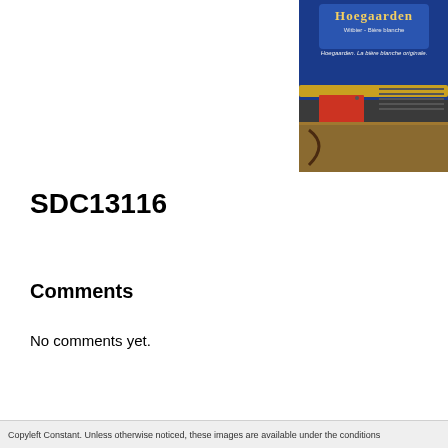[Figure (photo): A photo showing a Hoegaarden Witbier - Bière blanche sign/advertisement in blue and gold, with a red box-shaped device and a gold bar in the foreground, on what appears to be a wooden surface.]
SDC13116
Comments
No comments yet.
Copyleft Constant. Unless otherwise noticed, these images are available under the conditions